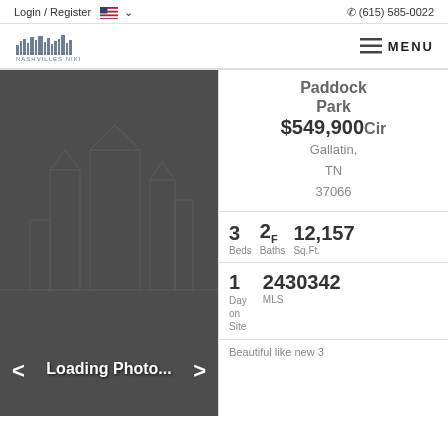Login / Register   🇺🇸 ∨   (615) 585-0022
[Figure (logo): Nashville's Niki real estate logo with city skyline silhouette and text NASHVILLES NIKI]
≡ MENU
[Figure (photo): Loading Photo placeholder image with dark grey background and architectural outline watermark, with navigation arrows]
Paddock Park Cir
$549,900
Gallatin, TN 37066
3 Beds   2F Baths   12,157 Sq.Ft.
1 Day on Site   2430342 MLS
Beautiful like new 3